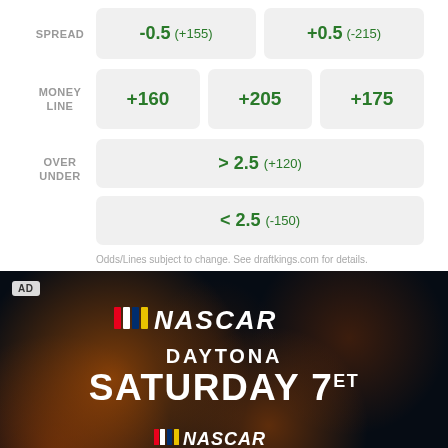|  | Col1 | Col2 | Col3 |
| --- | --- | --- | --- |
| SPREAD | -0.5 (+155) | +0.5 (-215) |  |
| MONEY LINE | +160 | +205 | +175 |
| OVER UNDER | > 2.5 (+120) |  |  |
|  | < 2.5 (-150) |  |  |
Odds/Lines subject to change. See draftkings.com for details.
[Figure (photo): NASCAR advertisement banner with dark bokeh background. Shows NASCAR logo with colored stripes, text 'DAYTONA', 'SATURDAY 7ET' in large white bold font, and repeated smaller NASCAR/DAYTONA branding at bottom. AD badge in top-left corner.]